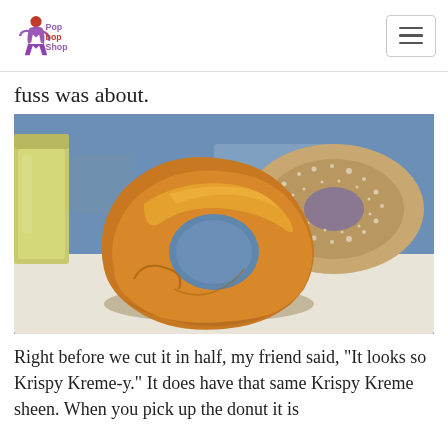Pop Bop Shop
fuss was about.
[Figure (photo): Two donuts on a white paper tray on a blue surface: a glazed ring donut in the foreground with a shiny golden-brown glaze, and a sugar-coated filled donut in the background. A drink cup is partially visible on the left.]
Right before we cut it in half, my friend said, "It looks so Krispy Kreme-y." It does have that same Krispy Kreme sheen. When you pick up the donut it is